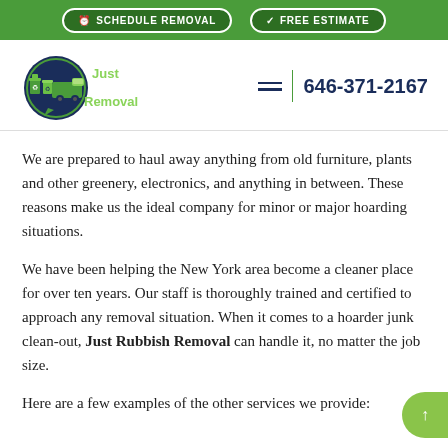SCHEDULE REMOVAL | FREE ESTIMATE
[Figure (logo): Just Rubbish Removal logo with truck and recycling bins, dark blue and green colors]
646-371-2167
We are prepared to haul away anything from old furniture, plants and other greenery, electronics, and anything in between. These reasons make us the ideal company for minor or major hoarding situations.
We have been helping the New York area become a cleaner place for over ten years. Our staff is thoroughly trained and certified to approach any removal situation. When it comes to a hoarder junk clean-out, Just Rubbish Removal can handle it, no matter the job size.
Here are a few examples of the other services we provide: